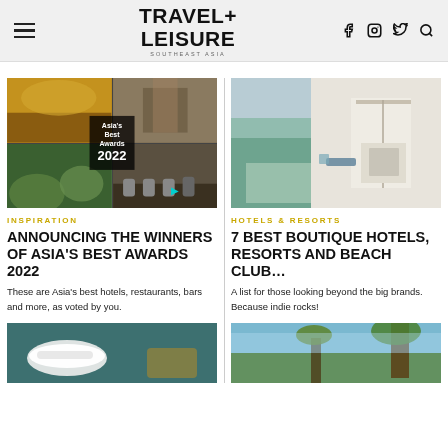TRAVEL+ LEISURE
[Figure (illustration): Collage of Asia's Best Awards 2022 winners including hotels, restaurants, and travel scenes]
INSPIRATION
ANNOUNCING THE WINNERS OF ASIA'S BEST AWARDS 2022
These are Asia’s best hotels, restaurants, bars and more, as voted by you.
[Figure (photo): Stylish sneakers and olive handbag product photo on teal background]
[Figure (photo): White canopy bed hotel room with ocean view]
HOTELS & RESORTS
7 BEST BOUTIQUE HOTELS, RESORTS AND BEACH CLUB…
A list for those looking beyond the big brands. Because indie rocks!
[Figure (photo): Tropical beach scene with palm trees and blue sky]